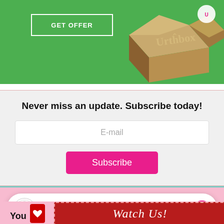[Figure (illustration): Green background advertisement for Urthbox subscription box service. Shows a 'GET OFFER' button and an image of a brown cardboard box with 'Urthbox' text.]
Never miss an update. Subscribe today!
E-mail
Subscribe
[Figure (illustration): Chat widget showing 'Chat with Closet of Free Samples' with messenger icon and 'Hi! How can we help you?' subtitle text.]
[Figure (illustration): Bottom banner showing 'You' text and 'Watch Us!' text on a red banner with dashed border over pink background.]